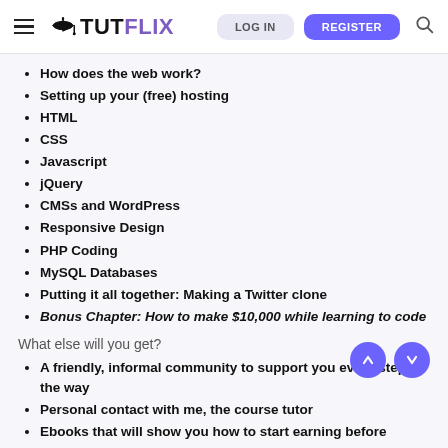TUTFLIX — LOG IN | REGISTER
How does the web work?
Setting up your (free) hosting
HTML
CSS
Javascript
jQuery
CMSs and WordPress
Responsive Design
PHP Coding
MySQL Databases
Putting it all together: Making a Twitter clone
Bonus Chapter: How to make $10,000 while learning to code
What else will you get?
A friendly, informal community to support you every step of the way
Personal contact with me, the course tutor
Ebooks that will show you how to start earning before